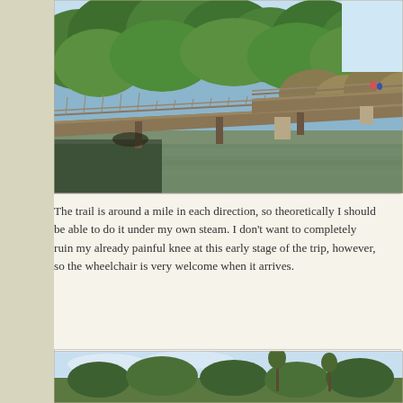[Figure (photo): A wooden boardwalk/bridge crossing over a river or waterway, surrounded by lush green trees and vegetation. The bridge has metal railings and appears to stretch into the distance. The water below is calm and brownish-green.]
The trail is around a mile in each direction, so theoretically I should be able to do it under my own steam. I don't want to completely ruin my already painful knee at this early stage of the trip, however, so the wheelchair is very welcome when it arrives.
[Figure (photo): Partial photo showing trees silhouetted against a blue sky, appears to be a tropical landscape, partially visible at the bottom of the page.]